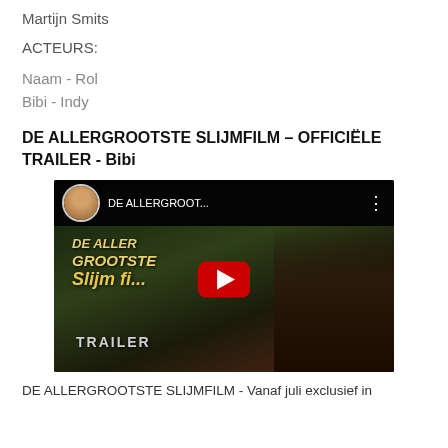Martijn Smits
ACTEURS:
Naam - Rol
Bibi - Indy
DE ALLERGROOTSTE SLIJMFILM – OFFICIËLE TRAILER - Bibi
[Figure (screenshot): YouTube video thumbnail for 'DE ALLERGROOTSTE SLIJMFILM – OFFICIËLE TRAILER - Bibi' showing a dark jungle-themed background with golden italic title text, a red YouTube play button in the center, and a girl visible on the right side. Top bar shows a circular avatar and the truncated title 'DE ALLERGROOT...']
DE ALLERGROOTSTE SLIJMFILM - Vanaf juli exclusief in